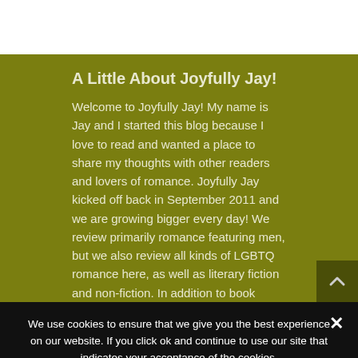A Little About Joyfully Jay!
Welcome to Joyfully Jay! My name is Jay and I started this blog because I love to read and wanted a place to share my thoughts with other readers and lovers of romance. Joyfully Jay kicked off back in September 2011 and we are growing bigger every day! We review primarily romance featuring men, but we also review all kinds of LGBTQ romance here, as well as literary fiction and non-fiction. In addition to book reviews, we host daily author guest posts and regular giveaways.
We use cookies to ensure that we give you the best experience on our website. If you click ok and continue to use our site that indicates your acceptance of the cookies.
Ok   Read more